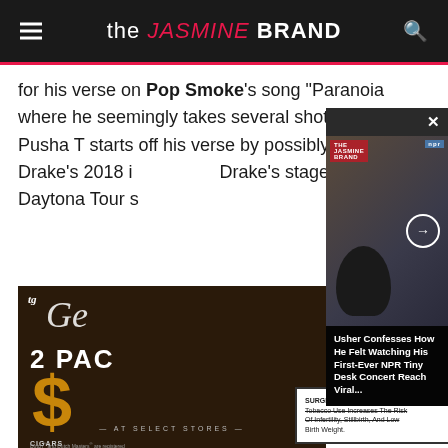the JASMINE BRAND
for his verse on Pop Smoke's song 'Paranoia where he seemingly takes several shots at Drake. Pusha T starts off his verse by possibly referencing Drake's 2018 i... Drake's stage, ... Daytona Tour s...
[Figure (screenshot): Video popup overlay showing Usher at NPR Tiny Desk Concert with caption: Usher Confesses How He Felt Watching His First-Ever NPR Tiny Desk Concert Reach Viral...]
[Figure (advertisement): Advertisement for cigars featuring 2 PAC text, large dollar sign in gold, 'AT SELECT STORES' text, and surgeon general warning about tobacco use increasing risk of infertility, stillbirth, and low birth weight.]
SURGEON GENERAL WARNING: Tobacco Use Increases The Risk Of Infertility, Stillbirth, And Low Birth Weight.